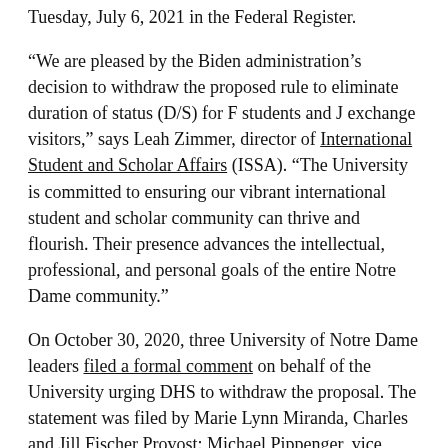Tuesday, July 6, 2021 in the Federal Register.
“We are pleased by the Biden administration’s decision to withdraw the proposed rule to eliminate duration of status (D/S) for F students and J exchange visitors,” says Leah Zimmer, director of International Student and Scholar Affairs (ISSA). “The University is committed to ensuring our vibrant international student and scholar community can thrive and flourish. Their presence advances the intellectual, professional, and personal goals of the entire Notre Dame community.”
On October 30, 2020, three University of Notre Dame leaders filed a formal comment on behalf of the University urging DHS to withdraw the proposal. The statement was filed by Marie Lynn Miranda, Charles and Jill Fischer Provost; Michael Pippenger, vice president and associate provost of internationalization; and Laura Carlson, vice